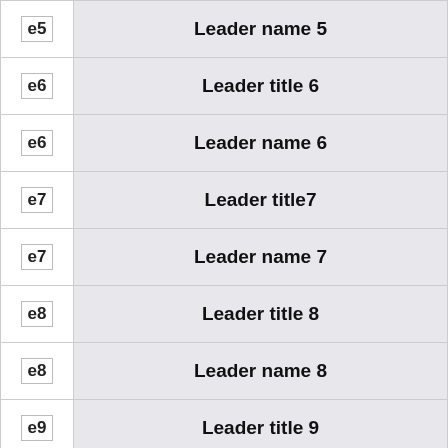|  |  |
| --- | --- |
| e5 | Leader name 5 |
| e6 | Leader title 6 |
| e6 | Leader name 6 |
| e7 | Leader title7 |
| e7 | Leader name 7 |
| e8 | Leader title 8 |
| e8 | Leader name 8 |
| e9 | Leader title 9 |